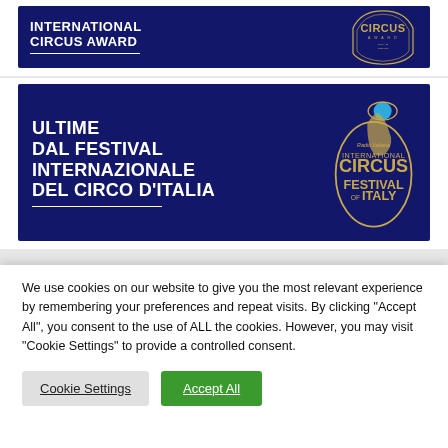[Figure (illustration): Dark blue banner with white bold text 'INTERNATIONAL CIRCUS AWARD' on the left with a white horizontal underline, and a gold/dark blue circus award logo emblem on the right.]
[Figure (illustration): Dark blue banner with white bold Italian text 'ULTIME DAL FESTIVAL INTERNAZIONALE DEL CIRCO D'ITALIA' on the left with a white horizontal underline, and an International Circus Festival of Italy logo in gold on the right with a globe icon and acrobat figure.]
We use cookies on our website to give you the most relevant experience by remembering your preferences and repeat visits. By clicking "Accept All", you consent to the use of ALL the cookies. However, you may visit "Cookie Settings" to provide a controlled consent.
Cookie Settings | Accept All